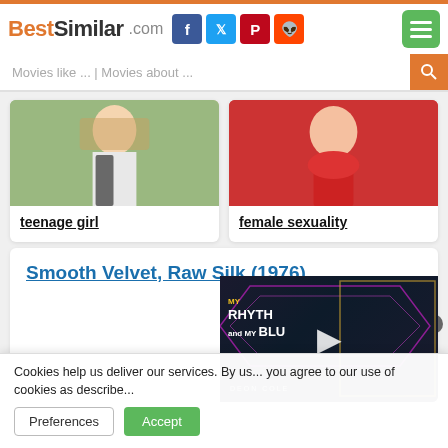BestSimilar.com
Movies like ... | Movies about ...
[Figure (photo): Teenage girl with long blonde hair holding backpack straps]
teenage girl
[Figure (photo): Woman in red dress with red lipstick]
female sexuality
Smooth Velvet, Raw Silk (1976)
4.2
Cookies help us deliver our services. By us... you agree to our use of cookies as describe...
Preferences
Accept